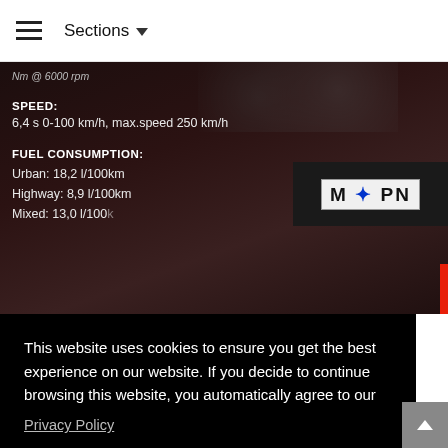≡  Sections ▾
... Nm @ 6000 rpm
SPEED:
6,4 s 0-100 km/h, max.speed 250 km/h
FUEL CONSUMPTION:
Urban: 18,2 l/100km
Highway: 8,9 l/100km
Mixed: 13,0 l/100...
[Figure (photo): Dark background showing car dashboard gauges and rear end of a car with German license plate M PN]
This website uses cookies to ensure you get the best experience on our website. If you decide to continue browsing this website, you automatically agree to our
Privacy Policy
Got it!